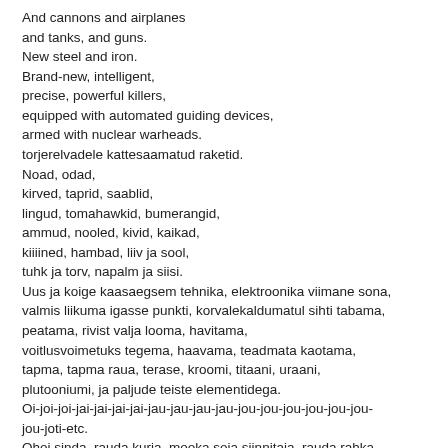And cannons and airplanes
and tanks, and guns.
New steel and iron.
Brand-new, intelligent,
precise, powerful killers,
equipped with automated guiding devices,
armed with nuclear warheads.
torjerelvadele kattesaamatud raketid.
Noad, odad,
kirved, taprid, saablid,
lingud, tomahawkid, bumerangid,
ammud, nooled, kivid, kaikad,
kiiiined, hambad, liiv ja sool,
tuhk ja torv, napalm ja siisi.
Uus ja koige kaasaegsem tehnika, elektroonika viimane sona,
valmis liikuma igasse punkti, korvalekaldumatul sihti tabama,
peatama, rivist valja looma, havitama,
voitlusvoimetuks tegema, haavama, teadmata kaotama,
tapma, tapma raua, terase, kroomi, titaani, uraani,
plutooniumi, ja paljude teiste elementidega.
Oi-joi-joi-jai-jai-jai-jai-jau-jau-jau-jau-jou-jou-jou-jou-jou-jou-jou-joti-etc.
Ohoi sinda, rauda kurja, mooka soja siinnitaja, rauda rahka,